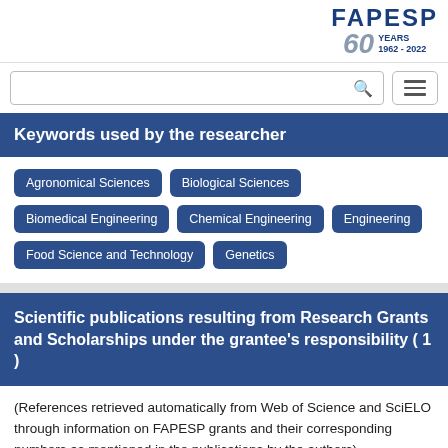[Figure (logo): FAPESP 60 Years 1962-2022 logo in top right corner]
Keywords used by the researcher
Agronomical Sciences
Biological Sciences
Biomedical Engineering
Chemical Engineering
Engineering
Food Science and Technology
Genetics
Scientific publications resulting from Research Grants and Scholarships under the grantee's responsibility ( 1 )
(References retrieved automatically from Web of Science and SciELO through information on FAPESP grants and their corresponding numbers as mentioned in the publications by the authors)